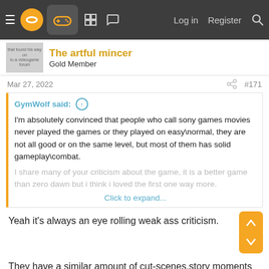Navigation bar with hamburger menu, logo, gamepad icon, grid icon, bubble icon, Log in, Register, Search
The artful mincer
Gold Member
Mar 27, 2022  #171
GymWolf said: ↑

I'm absolutely convinced that people who call sony games movies never played the games or they played on easy\normal, they are not all good or on the same level, but most of them has solid gameplay\combat.

I share many of your criticism about the game, it is a better game than zero dawn but i think i loved the first one way more.

Click to expand...
Yeah it's always an eye rolling weak ass criticism.
They have a similar amount of cut-scenes,story moments as the likes of Final Fantasy, Resident Evil, metal gear and the Witcher games.